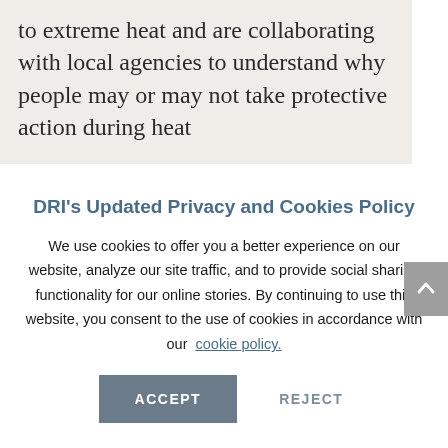to extreme heat and are collaborating with local agencies to understand why people may or may not take protective action during heat
DRI's Updated Privacy and Cookies Policy
We use cookies to offer you a better experience on our website, analyze our site traffic, and to provide social sharing functionality for our online stories. By continuing to use this website, you consent to the use of cookies in accordance with our cookie policy.
ACCEPT   REJECT